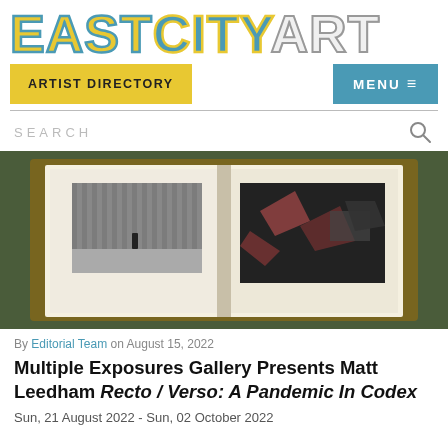EASTCITYART
ARTIST DIRECTORY  |  MENU
SEARCH
[Figure (photo): Open art book photographed on a green surface with a wooden frame border, showing two photographs on its pages — left page shows a figure standing in a large minimalist installation space with vertical ridges; right page shows an abstract dark sculptural arrangement with geometric shapes.]
By Editorial Team on August 15, 2022
Multiple Exposures Gallery Presents Matt Leedham Recto / Verso: A Pandemic In Codex
Sun, 21 August 2022 - Sun, 02 October 2022